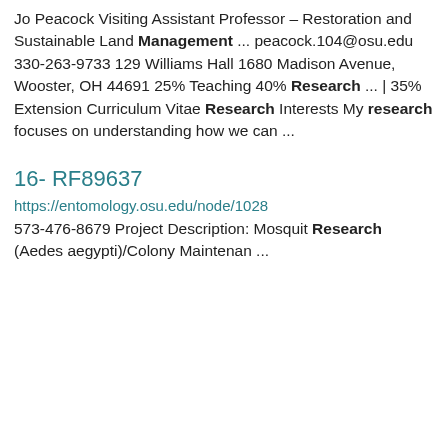Jo Peacock Visiting Assistant Professor – Restoration and Sustainable Land Management ... peacock.104@osu.edu 330-263-9733 129 Williams Hall 1680 Madison Avenue, Wooster, OH 44691 25% Teaching 40% Research ... | 35% Extension Curriculum Vitae Research Interests My research focuses on understanding how we can ...
16- RF89637
https://entomology.osu.edu/node/1028
573-476-8679 Project Description: Mosquit Research (Aedes aegypti)/Colony Maintenan ...